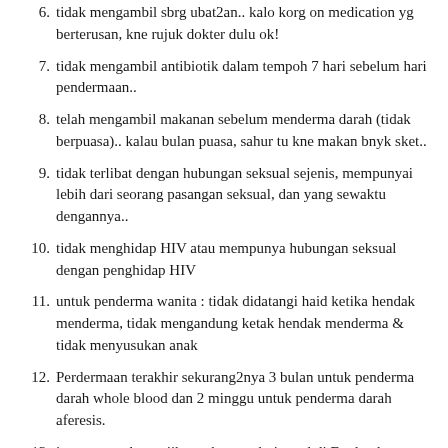6. tidak mengambil sbrg ubat2an.. kalo korg on medication yg berterusan, kne rujuk dokter dulu ok!
7. tidak mengambil antibiotik dalam tempoh 7 hari sebelum hari pendermaan..
8. telah mengambil makanan sebelum menderma darah (tidak berpuasa).. kalau bulan puasa, sahur tu kne makan bnyk sket..
9. tidak terlibat dengan hubungan seksual sejenis, mempunyai lebih dari seorang pasangan seksual, dan yang sewaktu dengannya..
10. tidak menghidap HIV atau mempunya hubungan seksual dengan penghidap HIV
11. untuk penderma wanita : tidak didatangi haid ketika hendak menderma, tidak mengandung ketak hendak menderma & tidak menyusukan anak
12. Perdermaan terakhir sekurang2nya 3 bulan untuk penderma darah whole blood dan 2 minggu untuk penderma darah aferesis.
13. jangan menderma jika anda pernah tinggal di England,
Northern Ireland, Scotland, Wales, Isle of Man atau Channel